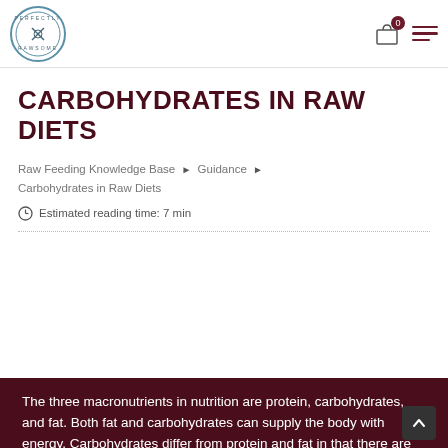Perfectly Rawsome — header with logo, cart (0), and hamburger menu
CARBOHYDRATES IN RAW DIETS
Raw Feeding Knowledge Base ▶ Guidance ▶ Carbohydrates in Raw Diets
Estimated reading time: 7 min
The three macronutrients in nutrition are protein, carbohydrates, and fat. Both fat and carbohydrates can supply the body with energy. Carbohydrates differ from protein and fat in that there are no established requirements for dogs and cats; however, there are